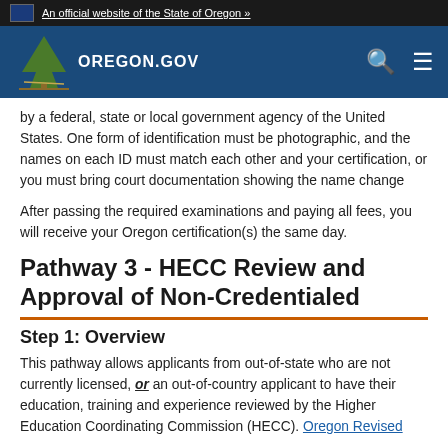An official website of the State of Oregon »
[Figure (logo): Oregon.gov logo with tree icon on blue navigation bar with search and menu icons]
by a federal, state or local government agency of the United States. One form of identification must be photographic, and the names on each ID must match each other and your certification, or you must bring court documentation showing the name change
After passing the required examinations and paying all fees, you will receive your Oregon certification(s) the same day.
Pathway 3 - HECC Review and Approval of Non-Credentialed
Step 1: Overview
This pathway allows applicants from out-of-state who are not currently licensed, or an out-of-country applicant to have their education, training and experience reviewed by the Higher Education Coordinating Commission (HECC). Oregon Revised